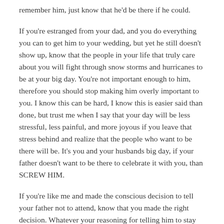remember him, just know that he'd be there if he could.
If you're estranged from your dad, and you do everything you can to get him to your wedding, but yet he still doesn't show up, know that the people in your life that truly care about you will fight through snow storms and hurricanes to be at your big day. You're not important enough to him, therefore you should stop making him overly important to you. I know this can be hard, I know this is easier said than done, but trust me when I say that your day will be less stressful, less painful, and more joyous if you leave that stress behind and realize that the people who want to be there will be. It's you and your husbands big day, if your father doesn't want to be there to celebrate it with you, than SCREW HIM.
If you're like me and made the conscious decision to tell your father not to attend, know that you made the right decision. Whatever your reasoning for telling him to stay